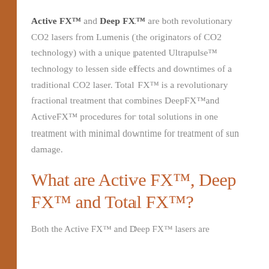Active FX™ and Deep FX™ are both revolutionary CO2 lasers from Lumenis (the originators of CO2 technology) with a unique patented Ultrapulse™ technology to lessen side effects and downtimes of a traditional CO2 laser. Total FX™ is a revolutionary fractional treatment that combines DeepFX™and ActiveFX™ procedures for total solutions in one treatment with minimal downtime for treatment of sun damage.
What are Active FX™, Deep FX™ and Total FX™?
Both the Active FX™ and Deep FX™ lasers are